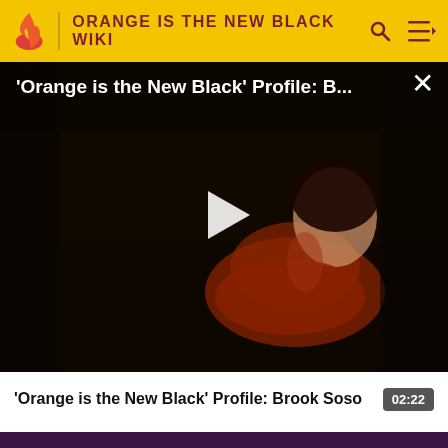ORANGE IS THE NEW BLACK WIKI
[Figure (screenshot): Video player showing a woman in an orange prison jumpsuit sitting in a dark room, with a white play button triangle overlay in the center. Title overlay reads: 'Orange is the New Black' Profile: B... with a close (×) button in the top right.]
'Orange is the New Black' Profile: Brook Soso
02:22